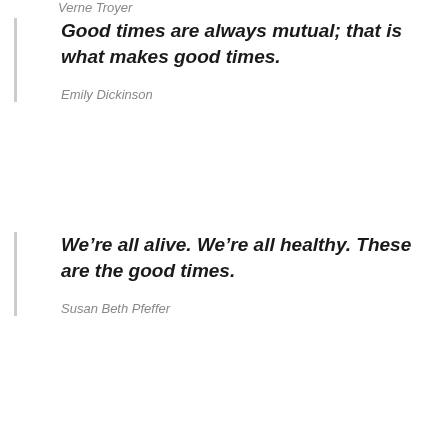Verne Troyer
Good times are always mutual; that is what makes good times.
Emily Dickinson
We’re all alive. We’re all healthy. These are the good times.
Susan Beth Pfeffer